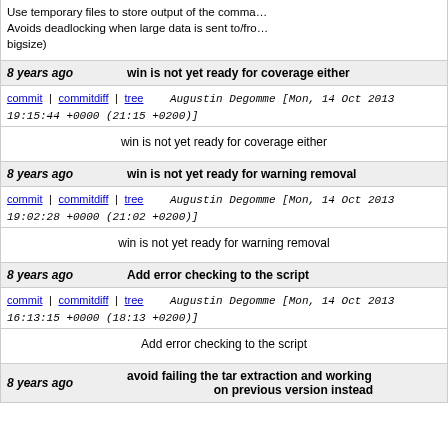Use temporary files to store output of the command. Avoids deadlocking when large data is sent to/from bigsize)
8 years ago   win is not yet ready for coverage either
commit | commitdiff | tree   Augustin Degomme [Mon, 14 Oct 2013 19:15:44 +0000 (21:15 +0200)]
win is not yet ready for coverage either
8 years ago   win is not yet ready for warning removal
commit | commitdiff | tree   Augustin Degomme [Mon, 14 Oct 2013 19:02:28 +0000 (21:02 +0200)]
win is not yet ready for warning removal
8 years ago   Add error checking to the script
commit | commitdiff | tree   Augustin Degomme [Mon, 14 Oct 2013 16:13:15 +0000 (18:13 +0200)]
Add error checking to the script
8 years ago   avoid failing the tar extraction and working on previous version instead